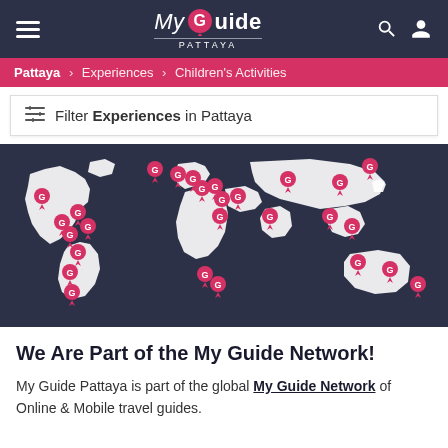My Guide Pattaya
Pattaya > Experiences > Children's Activities
Filter Experiences in Pattaya
[Figure (map): World map on dark background with pink My Guide location pins placed across multiple continents including North America, South America, Europe, Africa, Middle East, Asia, Southeast Asia, and Australia.]
We Are Part of the My Guide Network!
My Guide Pattaya is part of the global My Guide Network of Online & Mobile travel guides.